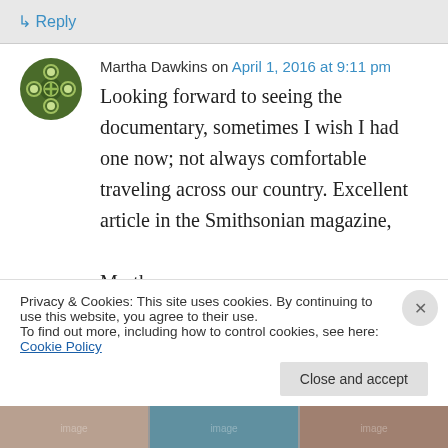↳ Reply
Martha Dawkins on April 1, 2016 at 9:11 pm
Looking forward to seeing the documentary, sometimes I wish I had one now; not always comfortable traveling across our country. Excellent article in the Smithsonian magazine,

Martha
Privacy & Cookies: This site uses cookies. By continuing to use this website, you agree to their use.
To find out more, including how to control cookies, see here: Cookie Policy
Close and accept